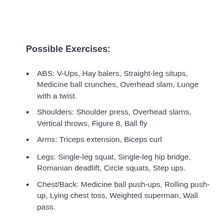Possible Exercises:
ABS: V-Ups, Hay balers, Straight-leg situps, Medicine ball crunches, Overhead slam, Lunge with a twist.
Shoulders: Shoulder press, Overhead slams, Vertical throws, Figure 8, Ball fly
Arms: Triceps extension, Biceps curl
Legs: Single-leg squat, Single-leg hip bridge, Romanian deadlift, Circle squats, Step ups.
Chest/Back: Medicine ball push-ups, Rolling push-up, Lying chest toss, Weighted superman, Wall pass.